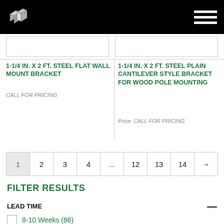Header with logo and navigation menu
[Figure (logo): WM interlocking block logo in grayscale]
1-1/4 IN. X 2 FT. STEEL FLAT WALL MOUNT BRACKET
CALL FOR PRICING
1-1/4 IN. X 2 FT. STEEL PLAIN CANTILEVER STYLE BRACKET FOR WOOD POLE MOUNTING
Price: CALL FOR PRICING
1 2 3 4 ... 12 13 14 →
FILTER RESULTS
LEAD TIME
8-10 Weeks (86)